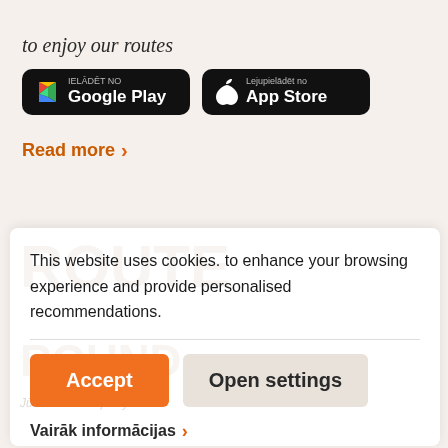to enjoy our routes
[Figure (screenshot): Google Play store download button with Play triangle icon, text 'IELĀDĒT NO Google Play' on black rounded rectangle background]
[Figure (screenshot): App Store download button with Apple logo icon, text 'Lejupielādēt no App Store' on black rounded rectangle background]
Read more >
This website uses cookies. to enhance your browsing experience and provide personalised recommendations.
Accept
Open settings
Vairāk informācijas >
Developed by KOSMODROMS